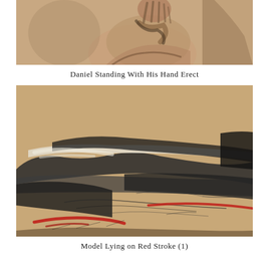[Figure (illustration): Upper portion of a figure drawing in charcoal showing a standing figure's torso and raised hand, on warm tan/beige toned paper]
Daniel Standing With His Hand Erect
[Figure (illustration): Charcoal and pastel drawing of a reclining nude figure on warm tan paper, with bold dark charcoal strokes, white highlights, and dramatic red strokes at lower portion]
Model Lying on Red Stroke (1)